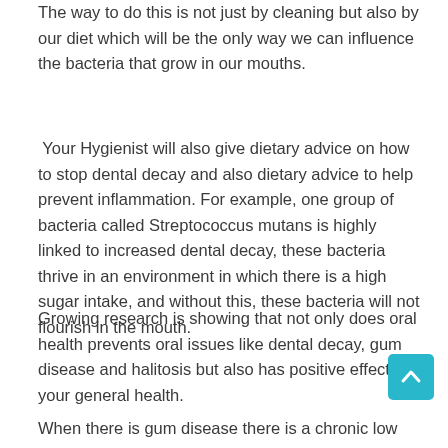The way to do this is not just by cleaning but also by our diet which will be the only way we can influence the bacteria that grow in our mouths.
Your Hygienist will also give dietary advice on how to stop dental decay and also dietary advice to help prevent inflammation. For example, one group of bacteria called Streptococcus mutans is highly linked to increased dental decay, these bacteria thrive in an environment in which there is a high sugar intake, and without this, these bacteria will not flourish in the mouth.
Growing research is showing that not only does oral health prevents oral issues like dental decay, gum disease and halitosis but also has positive effects on your general health.
When there is gum disease there is a chronic low grade